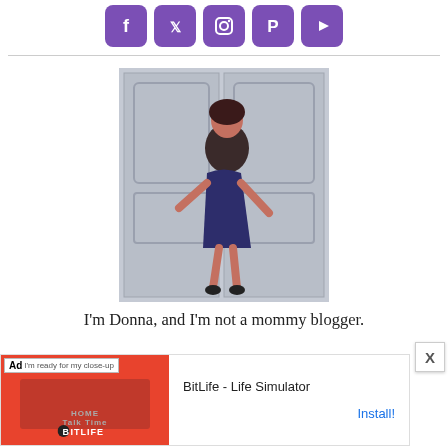[Figure (illustration): Social media icons for Facebook, Twitter, Instagram, Pinterest, and YouTube displayed as white symbols on purple rounded square backgrounds]
[Figure (photo): A woman with dark hair and glasses wearing a navy blue cold-shoulder dress and black sandals, posing playfully in front of an ornate white door with decorative carvings]
I'm Donna, and I'm not a mommy blogger.
[Figure (screenshot): Advertisement banner for BitLife - Life Simulator mobile app with a red background showing app screenshots on the left and install button on the right]